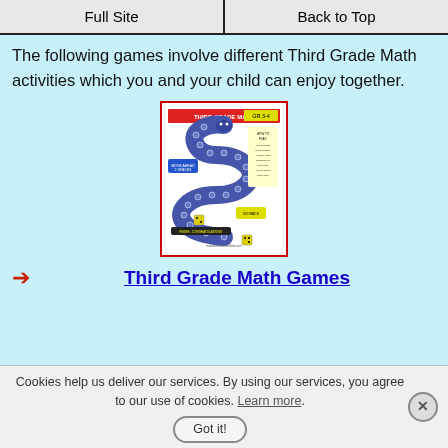Full Site | Back to Top
The following games involve different Third Grade Math activities which you and your child can enjoy together.
[Figure (illustration): A board game image showing a winding snake-shaped path with numbered spaces, yellow and blue highlighted areas, and dice — a Third Grade Math game printable.]
➡ Third Grade Math Games
Cookies help us deliver our services. By using our services, you agree to our use of cookies. Learn more.
Got it!